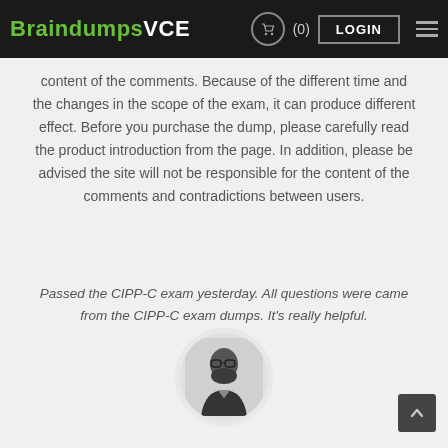BraindumpsVCE (0) LOGIN
content of the comments. Because of the different time and the changes in the scope of the exam, it can produce different effect. Before you purchase the dump, please carefully read the product introduction from the page. In addition, please be advised the site will not be responsible for the content of the comments and contradictions between users.
Passed the CIPP-C exam yesterday. All questions were came from the CIPP-C exam dumps. It's really helpful.
[Figure (photo): Black and white headshot photo of a bearded man wearing glasses, shown in a circular frame]